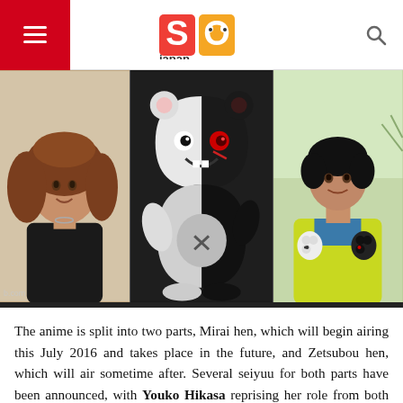SO japan — navigation bar with hamburger menu and search icon
[Figure (photo): Three photos side by side: left — a Japanese woman with curly brown hair wearing a black top (voice actress); center — Monokuma, a black-and-white bear character with a menacing red eye from Danganronpa; right — an older Japanese woman in a yellow-green jacket holding Monokuma plush toys.]
The anime is split into two parts, Mirai hen, which will begin airing this July 2016 and takes place in the future, and Zetsubou hen, which will air sometime after. Several seiyuu for both parts have been announced, with Youko Hikasa reprising her role from both the original video game, as well as the anime adaptation, as the genius detective, Kyouko Kirigiri. She will be